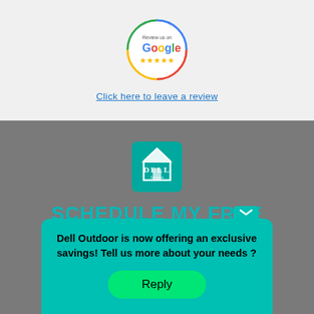[Figure (logo): Google review badge — circular border in Google colors (blue, red, yellow, green) with 'Review us on Google' text and five gold stars]
Click here to leave a review
[Figure (logo): Dell Services logo — teal square with white house/barn icon and 'Dell Services' text]
SCHEDULE MY FREE CONSULTATION
Dell Outdoor is now offering an exclusive savings! Tell us more about your needs ?
Reply